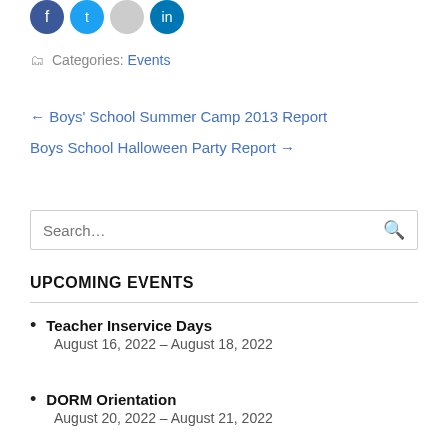[Figure (illustration): Four social media icon circles at the top: two blue, one light gray, one dark blue]
Categories: Events
← Boys' School Summer Camp 2013 Report
Boys School Halloween Party Report →
Search...
UPCOMING EVENTS
Teacher Inservice Days
August 16, 2022 – August 18, 2022
DORM Orientation
August 20, 2022 – August 21, 2022